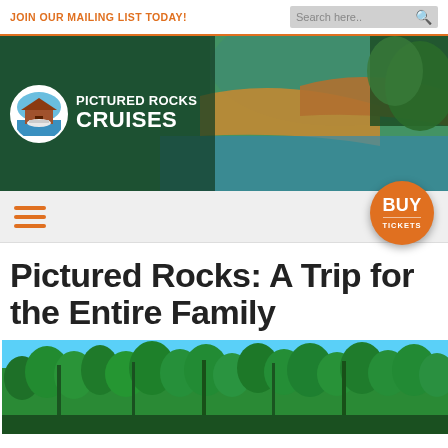JOIN OUR MAILING LIST TODAY!
[Figure (screenshot): Pictured Rocks Cruises website header with logo, navigation, and hero image of rocky cliffs and water]
Pictured Rocks: A Trip for the Entire Family
[Figure (photo): Outdoor photo showing green forest trees against a blue sky]